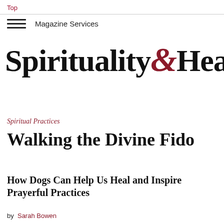Top
Magazine Services
Spirituality & Health
Spiritual Practices
Walking the Divine Fido
How Dogs Can Help Us Heal and Inspire Prayerful Practices
by Sarah Bowen